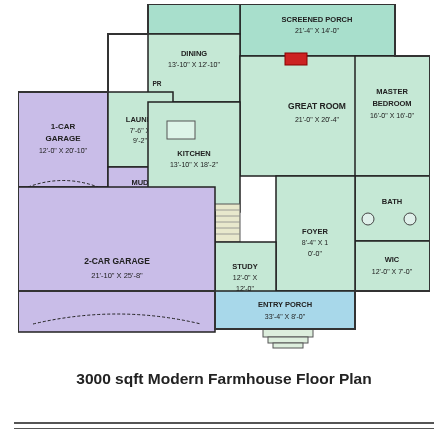[Figure (engineering-diagram): Floor plan of a 3000 sqft Modern Farmhouse showing rooms: Screened Porch 21'-4" x 14'-0", Dining 13'-10" x 12'-10", Great Room 21'-0" x 20'-4", Master Bedroom 16'-0" x 16'-0", 1-Car Garage 12'-0" x 20'-10", Laundry 7'-6" x 9'-2", Mud Room, Kitchen 13'-10" x 18'-2", Bath, Study 12'-0" x 12'-0", Foyer 8'-4" x 10'-0", WIC 12'-0" x 7'-0", Entry Porch 33'-4" x 8'-0", 2-Car Garage 21'-10" x 25'-8", Pantry (PAN.), PR. Colored regions: green for main living areas and screened porch, purple for garages and mud room, blue for entry porch.]
3000 sqft Modern Farmhouse Floor Plan